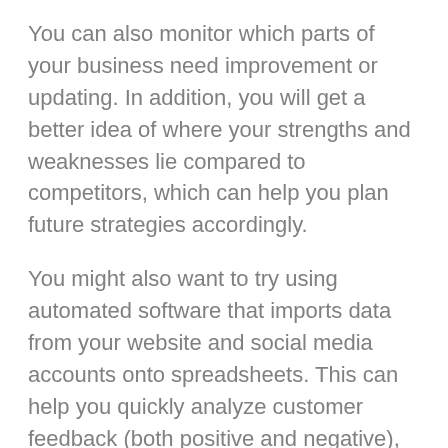You can also monitor which parts of your business need improvement or updating. In addition, you will get a better idea of where your strengths and weaknesses lie compared to competitors, which can help you plan future strategies accordingly.
You might also want to try using automated software that imports data from your website and social media accounts onto spreadsheets. This can help you quickly analyze customer feedback (both positive and negative), allowing you to take action where necessary.
Besides the above points, businesses that have streamlined their processes can cut operational costs significantly. If you are running a business, streamlining your processes should interest you.
As we have posited, streamlining your business